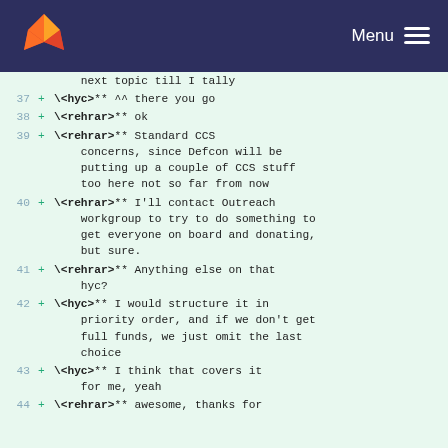Menu
next topic till I tally
37 + **\<hyc>** ^^ there you go
38 + **\<rehrar>** ok
39 + **\<rehrar>** Standard CCS concerns, since Defcon will be putting up a couple of CCS stuff too here not so far from now
40 + **\<rehrar>** I'll contact Outreach workgroup to try to do something to get everyone on board and donating, but sure.
41 + **\<rehrar>** Anything else on that hyc?
42 + **\<hyc>** I would structure it in priority order, and if we don't get full funds, we just omit the last choice
43 + **\<hyc>** I think that covers it for me, yeah
44 + **\<rehrar>** awesome, thanks for